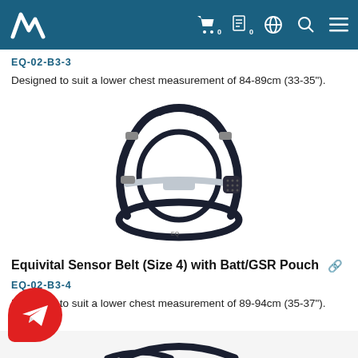Equivital website header with logo and navigation icons
EQ-02-B3-3
Designed to suit a lower chest measurement of 84-89cm (33-35").
[Figure (photo): Equivital sensor belt harness, dark navy/black color, showing elastic straps, buckles and sensor housing, shown on white background]
Equivital Sensor Belt (Size 4) with Batt/GSR Pouch
EQ-02-B3-4
Designed to suit a lower chest measurement of 89-94cm (35-37").
[Figure (photo): Partial view of another Equivital sensor belt at bottom of page]